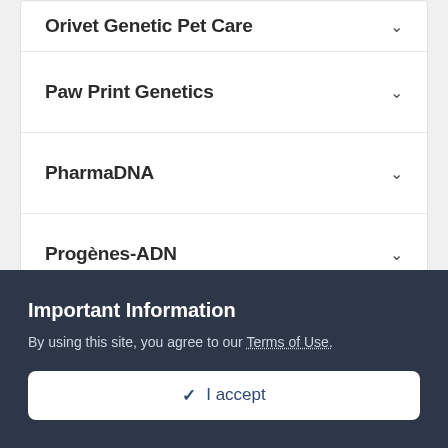Orivet Genetic Pet Care
Paw Print Genetics
PharmaDNA
Progènes-ADN
VHL Genetics
Zoolyx
HCTD Quick Search
Important Information
By using this site, you agree to our Terms of Use.
✔ I accept